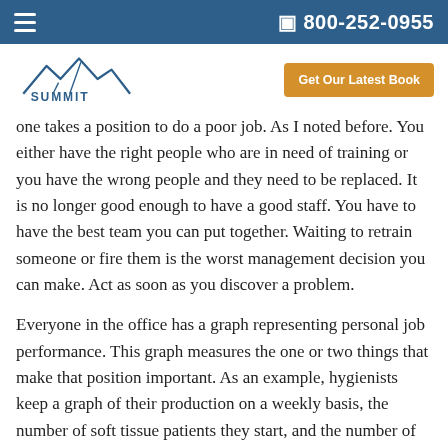☰   📞 800-252-0955
[Figure (logo): Summit Practice Solutions logo with mountain graphic and company name]
one takes a position to do a poor job. As I noted before. You either have the right people who are in need of training or you have the wrong people and they need to be replaced. It is no longer good enough to have a good staff. You have to have the best team you can put together. Waiting to retrain someone or fire them is the worst management decision you can make. Act as soon as you discover a problem.
Everyone in the office has a graph representing personal job performance. This graph measures the one or two things that make that position important. As an example, hygienists keep a graph of their production on a weekly basis, the number of soft tissue patients they start, and the number of crowns they present. If you think about it, if they did well in these areas you would have a great hygiene department. The